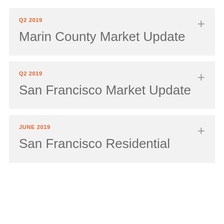Q2 2019
Marin County Market Update
Q2 2019
San Francisco Market Update
JUNE 2019
San Francisco Residential